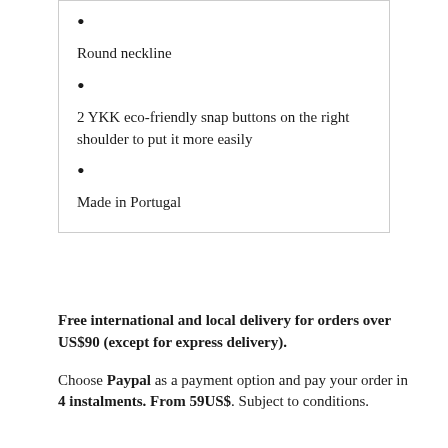Round neckline
2 YKK eco-friendly snap buttons on the right shoulder to put it more easily
Made in Portugal
Free international and local delivery for orders over US$90 (except for express delivery).
Choose Paypal as a payment option and pay your order in 4 instalments. From 59US$. Subject to conditions.